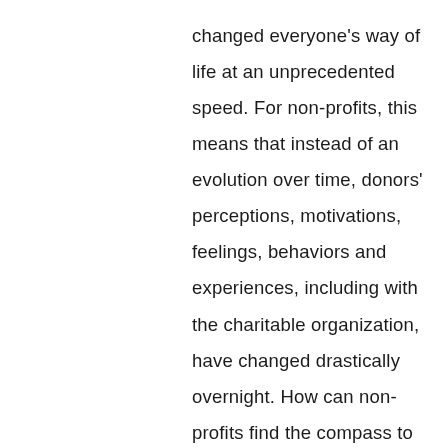changed everyone's way of life at an unprecedented speed. For non-profits, this means that instead of an evolution over time, donors' perceptions, motivations, feelings, behaviors and experiences, including with the charitable organization, have changed drastically overnight. How can non-profits find the compass to guide them through this crisis and possibly meet new ones in the future?